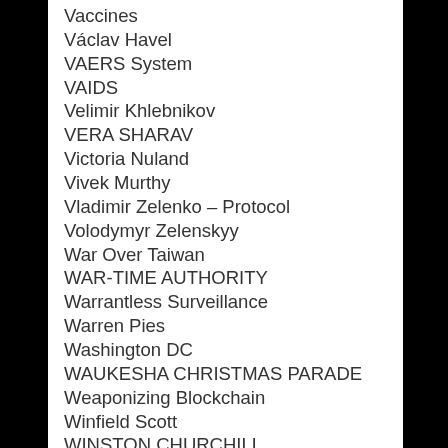Vaccines
Václav Havel
VAERS System
VAIDS
Velimir Khlebnikov
VERA SHARAV
Victoria Nuland
Vivek Murthy
Vladimir Zelenko – Protocol
Volodymyr Zelenskyy
War Over Taiwan
WAR-TIME AUTHORITY
Warrantless Surveillance
Warren Pies
Washington DC
WAUKESHA CHRISTMAS PARADE
Weaponizing Blockchain
Winfield Scott
WINSTON CHURCHILL
Wisconsin Elector RECALL
Wisconsin Electoral Fraud